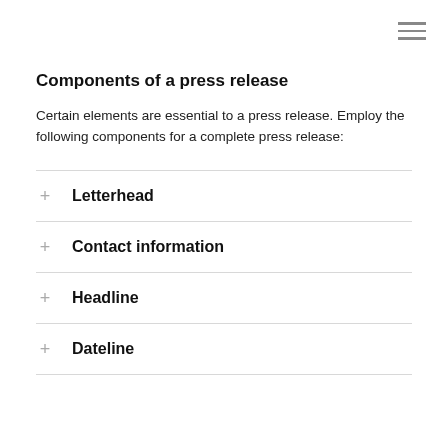Components of a press release
Certain elements are essential to a press release. Employ the following components for a complete press release:
Letterhead
Contact information
Headline
Dateline